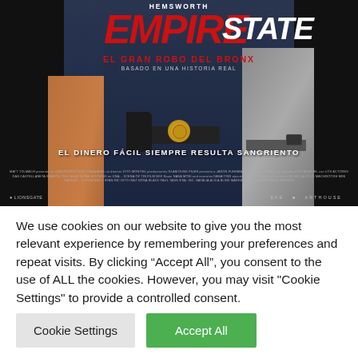[Figure (photo): Movie poster for 'Empire State' (El Gran Robo Del Bronx). Shows two men from torso down, one in a dark t-shirt with a police badge and holstered gun, one in a grey shirt. Red and white title text. Tagline: 'EL DINERO FÁCIL SIEMPRE RESULTA SANGRIENTO']
We use cookies on our website to give you the most relevant experience by remembering your preferences and repeat visits. By clicking "Accept All", you consent to the use of ALL the cookies. However, you may visit "Cookie Settings" to provide a controlled consent.